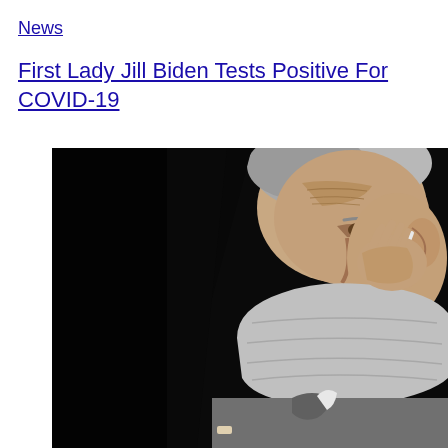News
First Lady Jill Biden Tests Positive For COVID-19
[Figure (photo): An elderly man wearing a grey face mask adjusting the mask strap near his ear, against a dark/black background. The man has white/grey hair and is wearing a grey suit with a white shirt.]